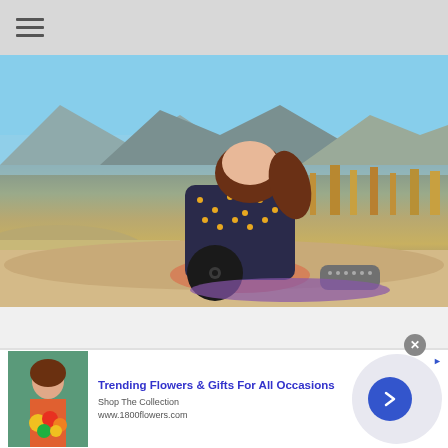≡
[Figure (photo): A woman with long red hair wearing a dark floral blouse and plaid shorts, kneeling on a rock outdoors with dramatic mountain scenery in the background. She appears to be handling a vinyl record. The setting is arid/desert mountains under a blue sky.]
[Figure (infographic): Advertisement for 1-800-Flowers: 'Trending Flowers & Gifts For All Occasions – Shop The Collection – www.1800flowers.com' with a photo of a woman holding flowers, a forward navigation arrow button, a close button, and an AdChoices icon.]